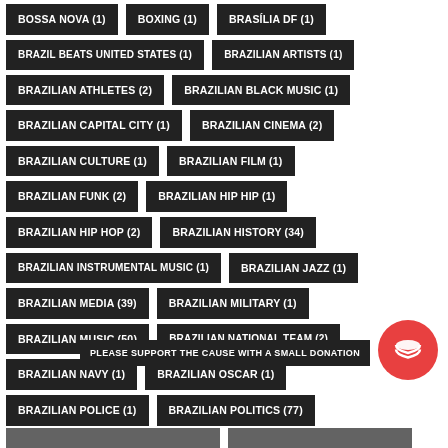BOSSA NOVA (1)
BOXING (1)
BRASÍLIA DF (1)
BRAZIL BEATS UNITED STATES (1)
BRAZILIAN ARTISTS (1)
BRAZILIAN ATHLETES (2)
BRAZILIAN BLACK MUSIC (1)
BRAZILIAN CAPITAL CITY (1)
BRAZILIAN CINEMA (2)
BRAZILIAN CULTURE (1)
BRAZILIAN FILM (1)
BRAZILIAN FUNK (2)
BRAZILIAN HIP HIP (1)
BRAZILIAN HIP HOP (2)
BRAZILIAN HISTORY (34)
BRAZILIAN INSTRUMENTAL MUSIC (1)
BRAZILIAN JAZZ (1)
BRAZILIAN MEDIA (39)
BRAZILIAN MILITARY (1)
BRAZILIAN MUSIC (50)
BRAZILIAN NATIONAL TEAM (2)
BRAZILIAN NAVY (1)
BRAZILIAN OSCAR (1)
BRAZILIAN POLICE (1)
BRAZILIAN POLITICS (77)
PLEASE SUPPORT THE CAUSE WITH A SMALL DONATION